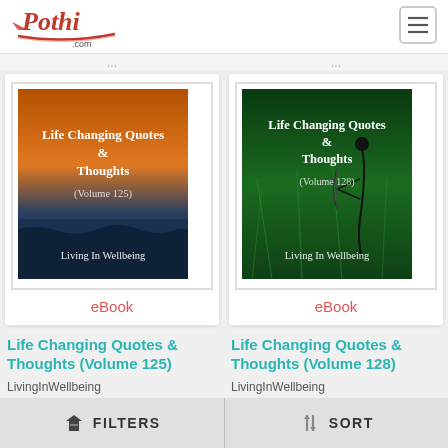[Figure (logo): Pothi.com logo - red cursive text with red swoosh underline]
[Figure (illustration): Hamburger menu icon in a bordered box]
[Figure (illustration): Book cover: Life Changing Quotes & Thoughts (Volume 125) by Living In Wellbeing - orange/blue stormy sky background]
eBook
[Figure (illustration): Book cover: Life Changing Quotes & Thoughts (Volume 128) by Living In Wellbeing - green grass background with archer silhouette]
eBook
Life Changing Quotes & Thoughts (Volume 125)
Life Changing Quotes & Thoughts (Volume 128)
LivingInWellbeing
LivingInWellbeing
FILTERS   SORT